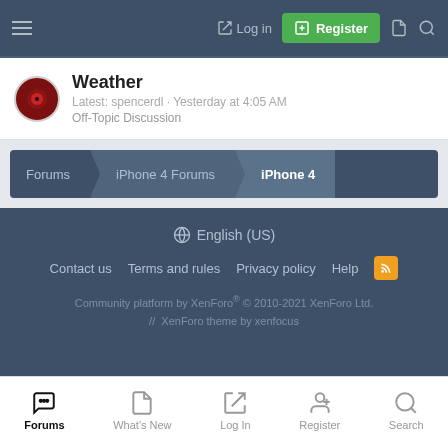Login | Register
Weather
Latest: spencerdl · Yesterday at 4:05 AM
Off-Topic Discussion
Forums > iPhone 4 Forums > iPhone 4
English (US)
Contact us  Terms and rules  Privacy policy  Help
Community platform by XenForo® © 2010-2021 XenForo Ltd.
// XenForo theme by xenfocus
Forums  What's New  Log In  Register  Search